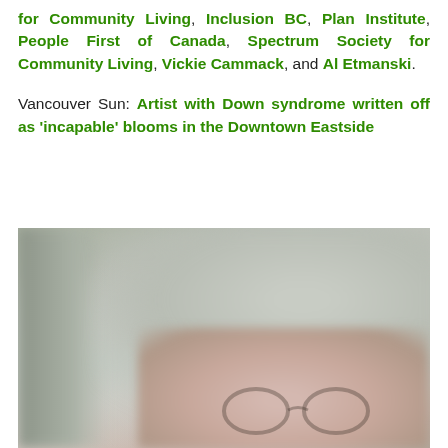for Community Living, Inclusion BC, Plan Institute, People First of Canada, Spectrum Society for Community Living, Vickie Cammack, and Al Etmanski.
Vancouver Sun: Artist with Down syndrome written off as 'incapable' blooms in the Downtown Eastside
[Figure (photo): A blurry close-up photograph of a person, likely wearing glasses, with soft-focus background elements including another person silhouette on the left.]